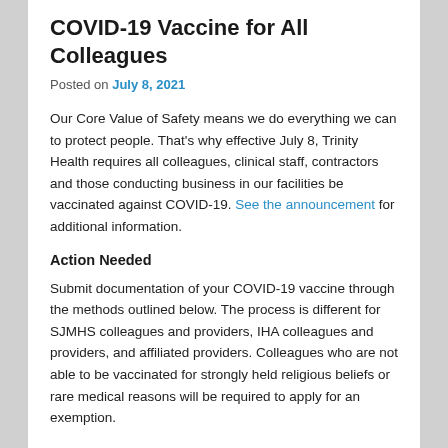COVID-19 Vaccine for All Colleagues
Posted on July 8, 2021
Our Core Value of Safety means we do everything we can to protect people. That's why effective July 8, Trinity Health requires all colleagues, clinical staff, contractors and those conducting business in our facilities be vaccinated against COVID-19. See the announcement for additional information.
Action Needed
Submit documentation of your COVID-19 vaccine through the methods outlined below. The process is different for SJMHS colleagues and providers, IHA colleagues and providers, and affiliated providers. Colleagues who are not able to be vaccinated for strongly held religious beliefs or rare medical reasons will be required to apply for an exemption.